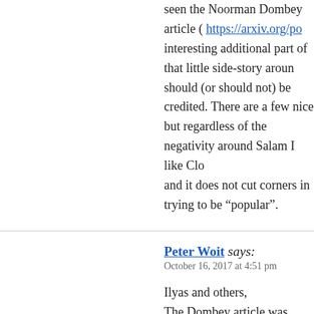seen the Noorman Dombey article ( https://arxiv.org/po... interesting additional part of that little side-story around should (or should not) be credited. There are a few nice but regardless of the negativity around Salam I like Clo and it does not cut corners in trying to be “popular”.
Peter Woit says:
October 16, 2017 at 4:51 pm

Ilyas and others,
The Dombey article was discussed extensively here ba...
http://www.math.columbia.edu/~woit/wordpress/?p=39...
and the Close book a couple months later:
http://www.math.columbia.edu/~woit/wordpress/?p=41...
a reader says:
October 17, 2017 at 3:18 pm